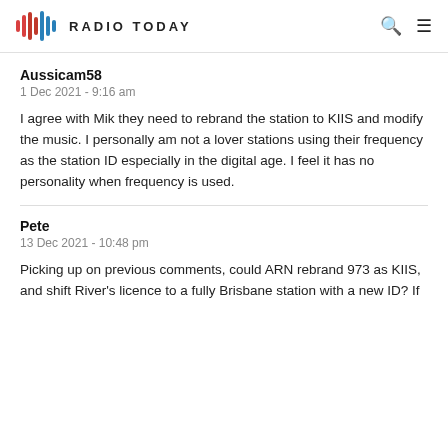RADIO TODAY
Aussicam58
1 Dec 2021 - 9:16 am
I agree with Mik they need to rebrand the station to KIIS and modify the music. I personally am not a lover stations using their frequency as the station ID especially in the digital age. I feel it has no personality when frequency is used.
Pete
13 Dec 2021 - 10:48 pm
Picking up on previous comments, could ARN rebrand 973 as KIIS, and shift River's licence to a fully Brisbane station with a new ID? If